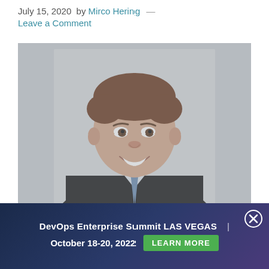July 15, 2020  by Mirco Hering  —  Leave a Comment
[Figure (photo): Professional headshot of a man in a dark suit and blue tie, smiling, against a light background. Image appears partially overlaid with a gray transparent layer.]
DevOps Enterprise Summit LAS VEGAS  |  October 18-20, 2022  LEARN MORE